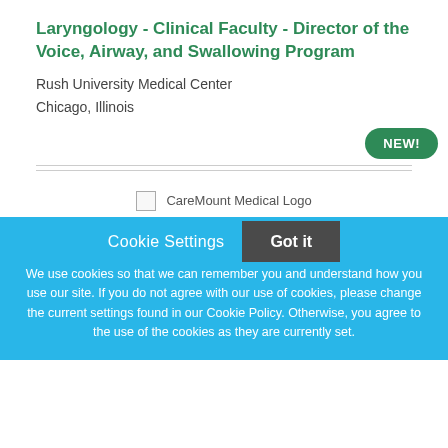Laryngology - Clinical Faculty - Director of the Voice, Airway, and Swallowing Program
Rush University Medical Center
Chicago, Illinois
[Figure (other): NEW! badge - green rounded pill button with white bold text]
[Figure (logo): CareMount Medical Logo placeholder image]
Cookie Settings
Got it
We use cookies so that we can remember you and understand how you use our site. If you do not agree with our use of cookies, please change the current settings found in our Cookie Policy. Otherwise, you agree to the use of the cookies as they are currently set.